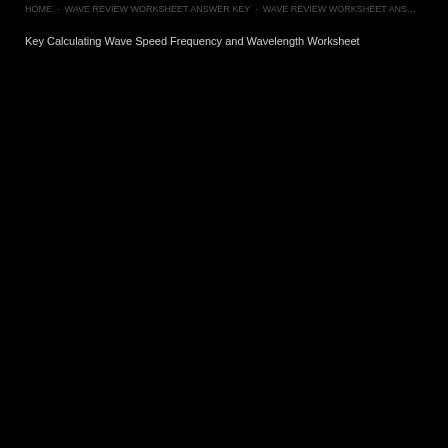HOME · WAVE REVIEW WORKSHEET ANSWER KEY · WAVE REVIEW WORKSHEET ANSWER
Key Calculating Wave Speed Frequency and Wavelength Worksheet